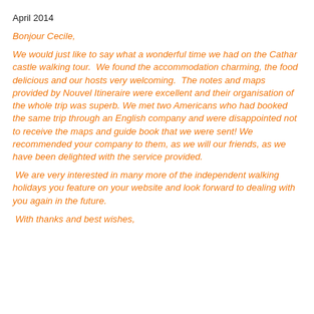April 2014
Bonjour Cecile,
We would just like to say what a wonderful time we had on the Cathar castle walking tour.  We found the accommodation charming, the food delicious and our hosts very welcoming.  The notes and maps provided by Nouvel Itineraire were excellent and their organisation of the whole trip was superb. We met two Americans who had booked the same trip through an English company and were disappointed not to receive the maps and guide book that we were sent! We recommended your company to them, as we will our friends, as we have been delighted with the service provided.
We are very interested in many more of the independent walking holidays you feature on your website and look forward to dealing with you again in the future.
With thanks and best wishes,